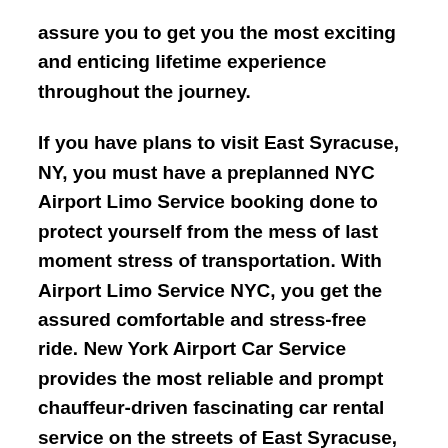assure you to get you the most exciting and enticing lifetime experience throughout the journey.
If you have plans to visit East Syracuse, NY, you must have a preplanned NYC Airport Limo Service booking done to protect yourself from the mess of last moment stress of transportation. With Airport Limo Service NYC, you get the assured comfortable and stress-free ride. New York Airport Car Service provides the most reliable and prompt chauffeur-driven fascinating car rental service on the streets of East Syracuse, NY.
It makes a great sense to visit the city most impressively by Airport Limo Service NYC. With New York Airport Limo Service, you don't have to take